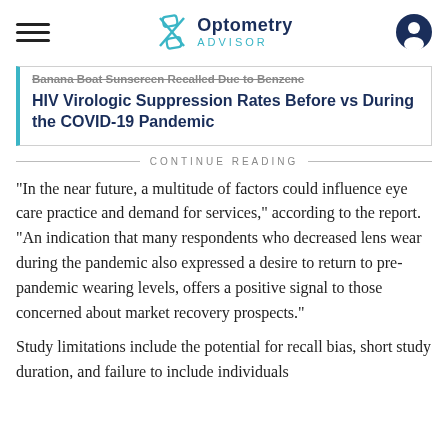Optometry Advisor
Banana Boat Sunscreen Recalled Due to Benzene
HIV Virologic Suppression Rates Before vs During the COVID-19 Pandemic
CONTINUE READING
“In the near future, a multitude of factors could influence eye care practice and demand for services,” according to the report. “An indication that many respondents who decreased lens wear during the pandemic also expressed a desire to return to pre-pandemic wearing levels, offers a positive signal to those concerned about market recovery prospects.”
Study limitations include the potential for recall bias, short study duration, and failure to include individuals more than 18...